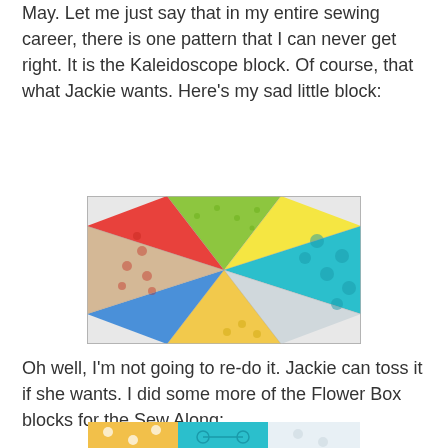May. Let me just say that in my entire sewing career, there is one pattern that I can never get right. It is the Kaleidoscope block. Of course, that what Jackie wants. Here's my sad little block:
[Figure (photo): A kaleidoscope quilt block made from colorful triangular fabric pieces arranged in a pinwheel/star pattern. Fabrics include green, yellow with clouds and bikes, red with flowers, teal with polka dots, white with gray print, and blue.]
Oh well, I'm not going to re-do it. Jackie can toss it if she wants. I did some more of the Flower Box blocks for the Sew Along:
[Figure (photo): Bottom portion of a Flower Box quilt block showing colorful fabrics including yellow with white flowers, teal with bike print.]